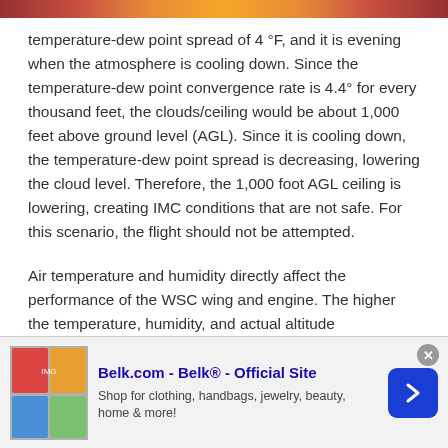[Figure (other): Decorative header bar with gradient red/orange colors at top of page]
temperature-dew point spread of 4 °F, and it is evening when the atmosphere is cooling down. Since the temperature-dew point convergence rate is 4.4° for every thousand feet, the clouds/ceiling would be about 1,000 feet above ground level (AGL). Since it is cooling down, the temperature-dew point spread is decreasing, lowering the cloud level. Therefore, the 1,000 foot AGL ceiling is lowering, creating IMC conditions that are not safe. For this scenario, the flight should not be attempted.
Air temperature and humidity directly affect the performance of the WSC wing and engine. The higher the temperature, humidity, and actual altitude
[Figure (other): Advertisement banner for Belk.com - Official Site. Shows product images on left, ad text in center reading 'Belk.com - Belk® - Official Site' and 'Shop for clothing, handbags, jewelry, beauty, home & more!', and a blue arrow button on the right.]